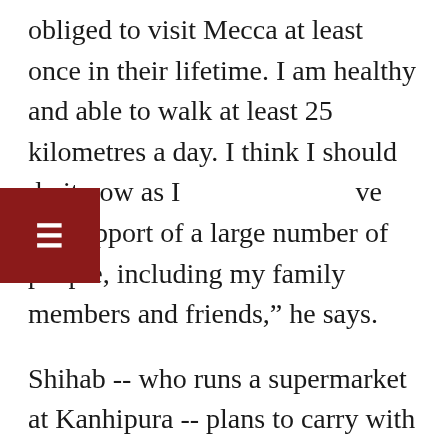obliged to visit Mecca at least once in their lifetime. I am healthy and able to walk at least 25 kilometres a day. I think I should do it now as I have the support of a large number of people, including my family members and friends," he says.
Shihab -- who runs a supermarket at Kanhipura -- plans to carry with him a luggage weighing around 10kg. It will include a sleeping bag, four t-shirts and trousers, and an umbrella. He will use the free accommodation and food provided by the worship places on the way. He began preparing for the journey eight months ago.
“I needed to take travel insurance to get financial